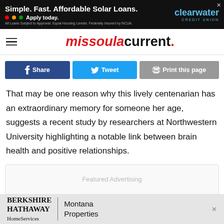[Figure (other): Top banner advertisement: Simple. Fast. Affordable Solar Loans. Apply today. Clearwater Credit Union logo.]
missoulacurrent.
[Figure (other): Social sharing buttons: Share (Facebook, dark blue), Tweet (Twitter, light blue), Print this page (gray)]
That may be one reason why this lively centenarian has an extraordinary memory for someone her age, suggests a recent study by researchers at Northwestern University highlighting a notable link between brain health and positive relationships.
[Figure (other): Featured Advertising placeholder box]
[Figure (other): Bottom banner advertisement: Berkshire Hathaway HomeServices | Montana Properties]